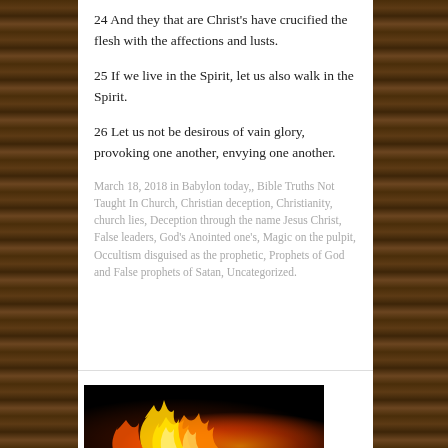24 And they that are Christ's have crucified the flesh with the affections and lusts.
25 If we live in the Spirit, let us also walk in the Spirit.
26 Let us not be desirous of vain glory, provoking one another, envying one another.
March 18, 2018 in Babylon today,, Bible Truths Not Taught In Church, Christian deception, Christianity, church lies, Deception through the name Jesus Christ, False leaders, God's Anointed one's, Magic on the pulpit, Occultism disguised as the prophetic, Prophets of God and False prophets of Satan, Uncategorized.
[Figure (photo): A close-up photograph of fire/flames with orange and yellow colors against a dark background.]